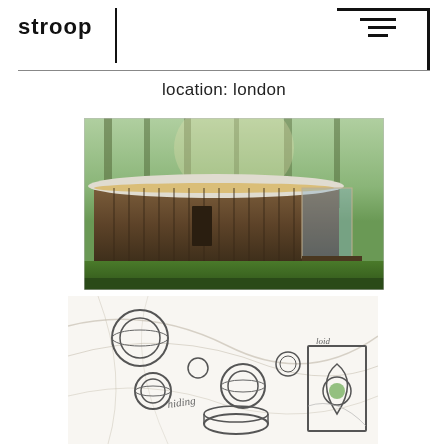stroop
location: london
[Figure (photo): Exterior rendering of a modern oval/elliptical garden studio or cabin with vertical wood slat cladding, illuminated roof edge, and glass open section on right, set in a green garden with tall trees in background.]
[Figure (illustration): Pencil sketch/concept drawing showing various circular and cylindrical forms including rings, spheres, and a cylindrical container, with a small framed circular element on the right, suggesting product design ideation.]